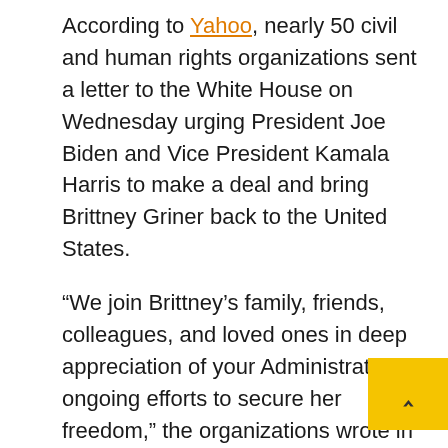According to Yahoo, nearly 50 civil and human rights organizations sent a letter to the White House on Wednesday urging President Joe Biden and Vice President Kamala Harris to make a deal and bring Brittney Griner back to the United States.
“We join Brittney’s family, friends, colleagues, and loved ones in deep appreciation of your Administration’s ongoing efforts to secure her freedom,” the organizations wrote in the one-page letter. “The U.S. Government has acknowledged that Brittney is essentially a political pawn in classifying her as wrongfully detained. While these have been critically important measures, we now urge you to make a deal to get Brittney back home to America immediately and safely.”